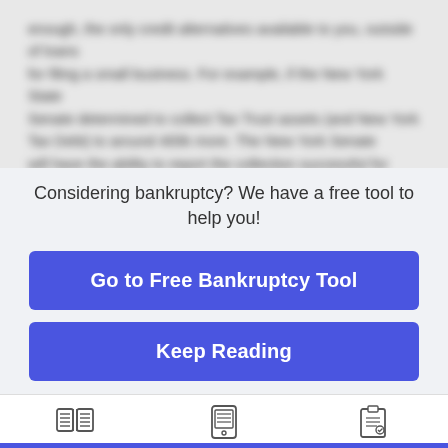[blurred body text about bankruptcy/credit]
Considering bankruptcy? We have a free tool to help you!
Go to Free Bankruptcy Tool
Keep Reading
Free Articles
Bankruptcy Tool
Filing Guide